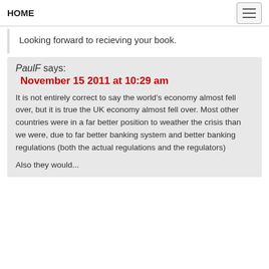HOME
Looking forward to recieving your book.
PaulF says:
November 15 2011 at 10:29 am
It is not entirely correct to say the world’s economy almost fell over, but it is true the UK economy almost fell over. Most other countries were in a far better position to weather the crisis than we were, due to far better banking system and better banking regulations (both the actual regulations and the regulators)
Also they would...